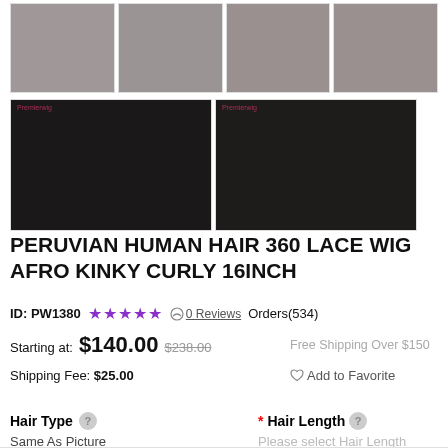[Figure (photo): Product images of a Peruvian Human Hair 360 Lace Wig Afro Kinky Curly 16inch — six thumbnail photos showing front, side, and back views of the wig on a model]
PERUVIAN HUMAN HAIR 360 LACE WIG AFRO KINKY CURLY 16INCH
ID: PW1380  ★★★★★  0 Reviews  Orders(534)
Starting at: $140.00  $238.00
Free Shipping Over $150
Shipping Fee: $25.00
Add to Favorite
Hair Type
Same As Picture
* Hair Length
Please select Hair Length